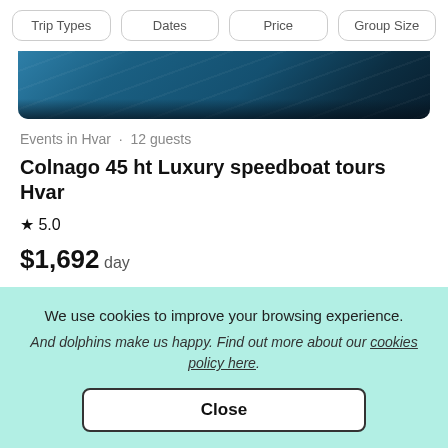Trip Types  Dates  Price  Group Size
[Figure (photo): Aerial or close-up view of blue ocean water, dark teal tones, partially cropped at top]
Events in Hvar · 12 guests
Colnago 45 ht Luxury speedboat tours Hvar
★ 5.0
$1,692 day
[Figure (photo): Partially visible boat or dock scene, top portion only visible, dark tones]
We use cookies to improve your browsing experience. And dolphins make us happy. Find out more about our cookies policy here.
Close